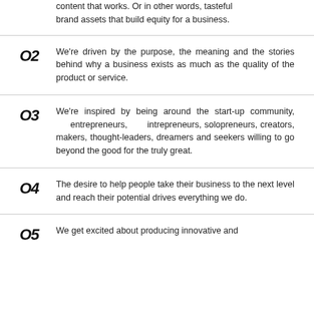content that works. Or in other words, tasteful brand assets that build equity for a business.
02 We're driven by the purpose, the meaning and the stories behind why a business exists as much as the quality of the product or service.
03 We're inspired by being around the start-up community, entrepreneurs, intrepreneurs, solopreneurs, creators, makers, thought-leaders, dreamers and seekers willing to go beyond the good for the truly great.
04 The desire to help people take their business to the next level and reach their potential drives everything we do.
05 We get excited about producing innovative and